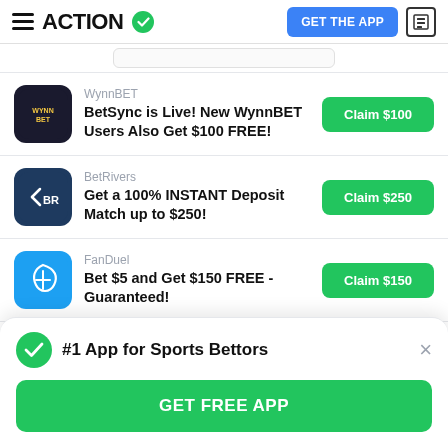ACTION — GET THE APP
WynnBET — BetSync is Live! New WynnBET Users Also Get $100 FREE! — Claim $100
BetRivers — Get a 100% INSTANT Deposit Match up to $250! — Claim $250
FanDuel — Bet $5 and Get $150 FREE - Guaranteed! — Claim $150
#1 App for Sports Bettors — GET FREE APP